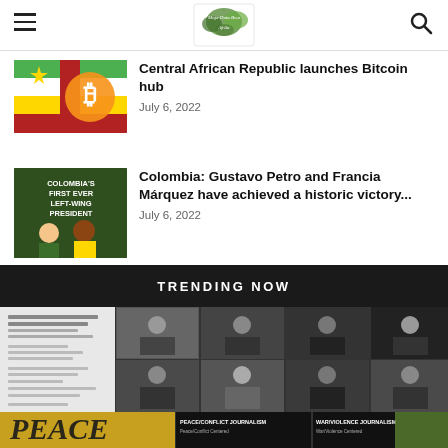Navigation bar with hamburger menu, logo, and search icon
Central African Republic launches Bitcoin hub
July 6, 2022
Colombia: Gustavo Petro and Francia Márquez have achieved a historic victory...
July 6, 2022
TRENDING NOW
[Figure (photo): Collage of people holding signs, peace imagery, and journalism-related content in black and white and color]